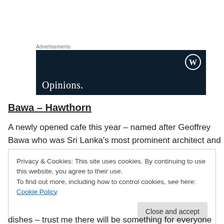[Figure (screenshot): Advertisement banner with dark navy background, WordPress logo (W in circle) in top right, and the word 'Opinions.' in large white serif font at bottom left.]
Bawa – Hawthorn
A newly opened cafe this year – named after Geoffrey Bawa who was Sri Lanka's most prominent architect and a
Privacy & Cookies: This site uses cookies. By continuing to use this website, you agree to their use.
To find out more, including how to control cookies, see here: Cookie Policy
[Close and accept]
dishes – trust me there will be something for everyone